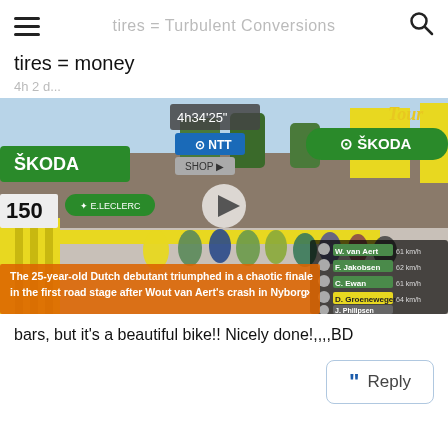tires = Turbulent Conversions
tires = money
4h 2 d...
[Figure (screenshot): Tour de France cycling race video screenshot showing a sprint finish with SKODA sponsor banners, riders racing toward finish line, timestamp 4h34'25", distance 150m marker, NTT sponsor logo, and orange subtitle text overlay reading 'The 25-year-old Dutch debutant triumphed in a chaotic finale in the first road stage after Wout van Aert's crash in Nyborg'. Rider leaderboard on right shows W. van Aert, F. Jakobsen, C. Ewan, D. Groenewegen, J. Philipsen with speeds. Play button visible.]
bars, but it's a beautiful bike!! Nicely done!,,,,BD
Reply